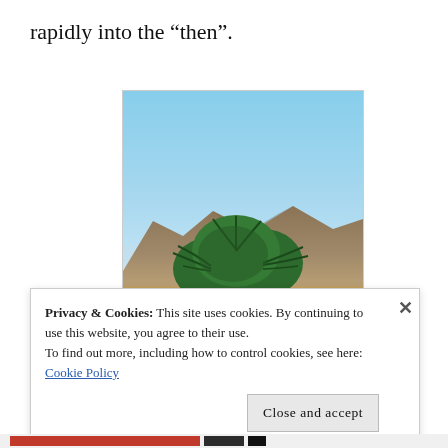rapidly into the “then”.
[Figure (photo): Photo of palm trees in a desert landscape with mountains and blue sky in the background]
Privacy & Cookies: This site uses cookies. By continuing to use this website, you agree to their use.
To find out more, including how to control cookies, see here:
Cookie Policy

Close and accept